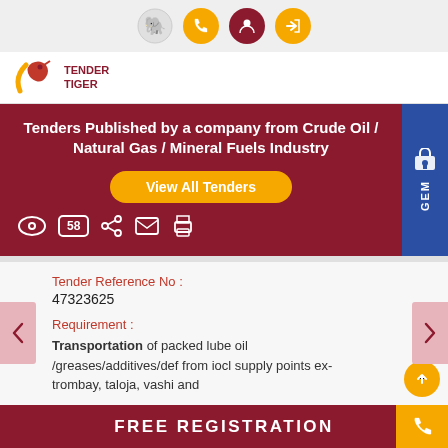[Figure (screenshot): Top navigation bar with elephant/Ganesha icon, orange phone icon, dark red profile icon, and orange login/arrow icon on grey background]
[Figure (logo): Tender Tiger logo with red tiger/bird graphic and text TENDER TIGER]
Tenders Published by a company from Crude Oil / Natural Gas / Mineral Fuels Industry
View All Tenders
58
GEM
Tender Reference No : 47323625
Requirement : Transportation of packed lube oil /greases/additives/def from iocl supply points ex- trombay, taloja, vashi and
FREE REGISTRATION